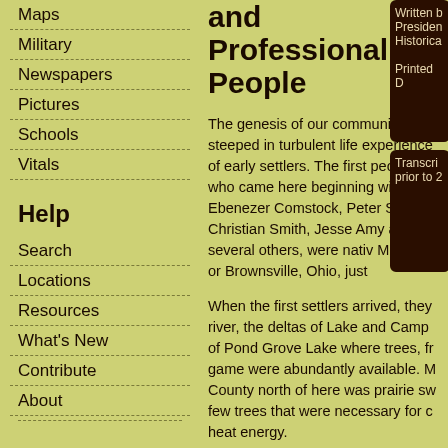Maps
Military
Newspapers
Pictures
Schools
Vitals
Help
Search
Locations
Resources
What's New
Contribute
About
and Professional People
The genesis of our community is steeped in turbulent life experience of early settlers. The first people who came here beginning with Ebenezer Comstock, Peter Smith, Christian Smith, Jesse Amy and several others, were native Michigan or Brownsville, Ohio, just
When the first settlers arrived, they river, the deltas of Lake and Camp of Pond Grove Lake where trees, fr game were abundantly available. M County north of here was prairie sw few trees that were necessary for c heat energy.
In the beginning, Lake City grew slo
Written b Presiden Historica Printed D
Transcri prior to 2